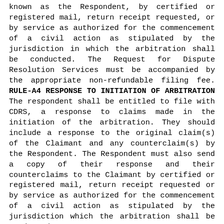known as the Respondent, by certified or registered mail, return receipt requested, or by service as authorized for the commencement of a civil action as stipulated by the jurisdiction in which the arbitration shall be conducted. The Request for Dispute Resolution Services must be accompanied by the appropriate non-refundable filing fee. RULE-A4 RESPONSE TO INITIATION OF ARBITRATION The respondent shall be entitled to file with CDRS, a response to claims made in the initiation of the arbitration. They should include a response to the original claim(s) of the Claimant and any counterclaim(s) by the Respondent. The Respondent must also send a copy of their response and their counterclaims to the Claimant by certified or registered mail, return receipt requested or by service as authorized for the commencement of a civil action as stipulated by the jurisdiction which the arbitration shall be conducted. RULE-A5 CLAIMS AND COUNTERCLAIMS The initial claim(s) of the Claimant shall be included with the Request for Dispute Resolution form that was submitted to CDRS. The initial counterclaims shall be included with the response by the Respondent to the initiation of arbitration. (a) If the Claimant requests to file additional claims after they have filed their original claims along with the Request